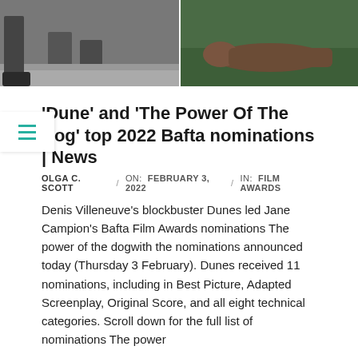[Figure (photo): Two-panel image: left panel shows legs/boots on a dirt path, right panel shows a person lying in grass]
'Dune' and 'The Power Of The Dog' top 2022 Bafta nominations | News
OLGA C. SCOTT  /  ON:  FEBRUARY 3, 2022  /  IN:  FILM AWARDS
Denis Villeneuve's blockbuster Dunes led Jane Campion's Bafta Film Awards nominations The power of the dogwith the nominations announced today (Thursday 3 February). Dunes received 11 nominations, including in Best Picture, Adapted Screenplay, Original Score, and all eight technical categories. Scroll down for the full list of nominations The power
READ MORE →
[Figure (photo): Two people wearing cowboy hats against a sandy/desert dune background]